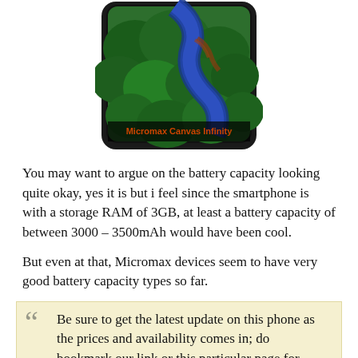[Figure (photo): A smartphone (Micromax Canvas Infinity) displaying an aerial/birds-eye view photograph of a river winding through dense green forest. The phone has a dark bezel with a label 'Micromax Canvas Infinity' at the bottom of the screen.]
You may want to argue on the battery capacity looking quite okay, yes it is but i feel since the smartphone is with a storage RAM of 3GB, at least a battery capacity of between 3000 – 3500mAh would have been cool.
But even at that, Micromax devices seem to have very good battery capacity types so far.
Be sure to get the latest update on this phone as the prices and availability comes in; do bookmark our link or this particular page for quicker